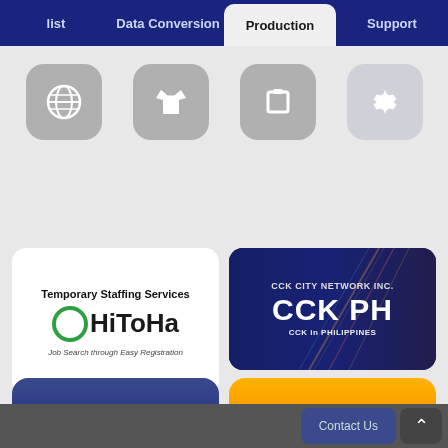list | Data Conversion | Production | Support
[Figure (screenshot): Four app icons in a row: globe icon, shirt icon, square/clipboard icon, gear/settings icon]
[Figure (logo): HiToHa temporary staffing services card with green circle logo and text: Temporary Staffing Services, OHiToHa, Job Search through Easy Registration]
[Figure (photo): CCK City Network Inc. card with city night lights background, showing CCK PH and CCK in PHILIPPINES]
Contact Us
Request an Estimate
Contact Us